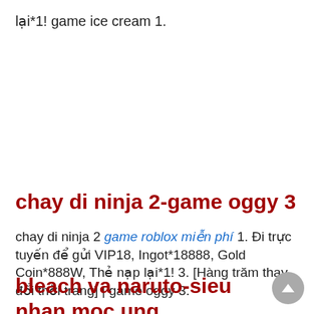lại*1! game ice cream 1.
chay di ninja 2-game oggy 3
chay di ninja 2 game roblox miễn phí 1. Đi trực tuyến để gửi VIP18, Ingot*18888, Gold Coin*888W, Thẻ nạp lại*1! 3. [Hàng trăm thay đổi thời trang] | game oggy 3.
bleach va naruto-sieu nhan moc ung